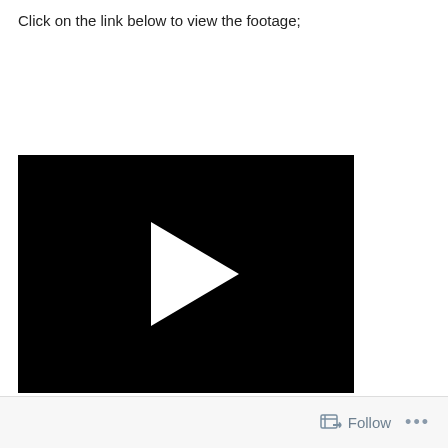Click on the link below to view the footage;
[Figure (screenshot): Video player thumbnail with black background and white play button triangle in the center]
Follow ...